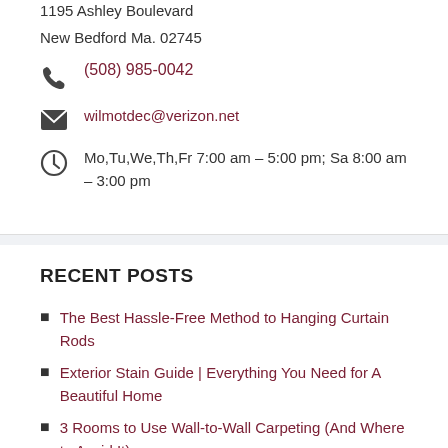1195 Ashley Boulevard
New Bedford Ma. 02745
(508) 985-0042
wilmotdec@verizon.net
Mo,Tu,We,Th,Fr 7:00 am – 5:00 pm; Sa 8:00 am – 3:00 pm
RECENT POSTS
The Best Hassle-Free Method to Hanging Curtain Rods
Exterior Stain Guide | Everything You Need for A Beautiful Home
3 Rooms to Use Wall-to-Wall Carpeting (And Where to Avoid It)